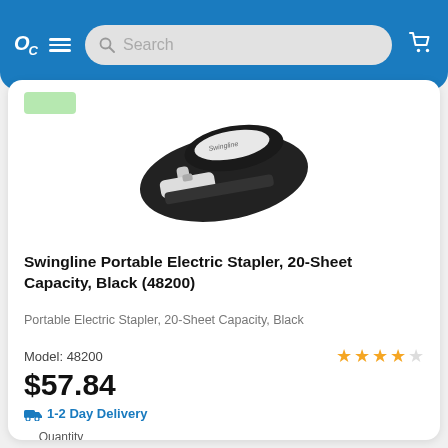OC [logo] [hamburger] Search [cart icon]
[Figure (photo): Swingline Portable Electric Stapler, black and white, viewed from front-left angle]
Swingline Portable Electric Stapler, 20-Sheet Capacity, Black (48200)
Portable Electric Stapler, 20-Sheet Capacity, Black
Model: 48200
$57.84
1-2 Day Delivery
Quantity 1
Add +